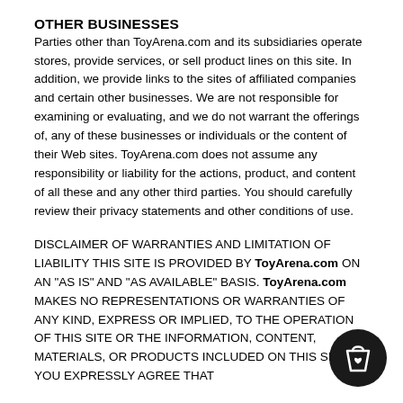OTHER BUSINESSES
Parties other than ToyArena.com and its subsidiaries operate stores, provide services, or sell product lines on this site. In addition, we provide links to the sites of affiliated companies and certain other businesses. We are not responsible for examining or evaluating, and we do not warrant the offerings of, any of these businesses or individuals or the content of their Web sites. ToyArena.com does not assume any responsibility or liability for the actions, product, and content of all these and any other third parties. You should carefully review their privacy statements and other conditions of use.
DISCLAIMER OF WARRANTIES AND LIMITATION OF LIABILITY THIS SITE IS PROVIDED BY ToyArena.com ON AN "AS IS" AND "AS AVAILABLE" BASIS. ToyArena.com MAKES NO REPRESENTATIONS OR WARRANTIES OF ANY KIND, EXPRESS OR IMPLIED, TO THE OPERATION OF THIS SITE OR THE INFORMATION, CONTENT, MATERIALS, OR PRODUCTS INCLUDED ON THIS SITE. YOU EXPRESSLY AGREE THAT